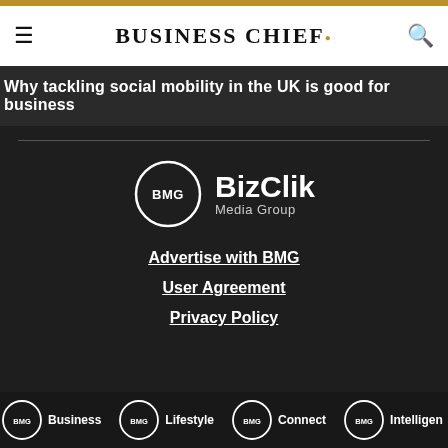BUSINESS CHIEF.
Why tackling social mobility in the UK is good for business
[Figure (logo): BizClik Media Group (BMG) circular logo with BMG in a circle and BizClik Media Group text beside it, white on dark background]
Advertise with BMG
User Agreement
Privacy Policy
BMG Business | BMG Lifestyle | BMG Connect | BMG Intelligence